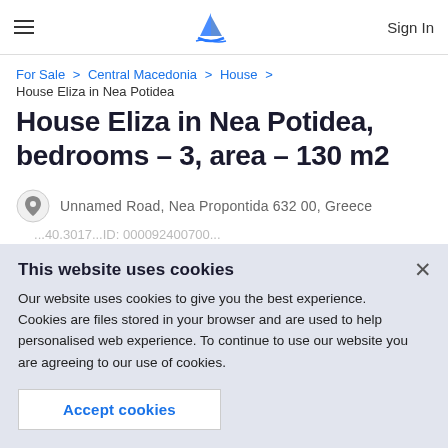Sign In
For Sale > Central Macedonia > House > House Eliza in Nea Potidea
House Eliza in Nea Potidea, bedrooms - 3, area - 130 m2
Unnamed Road, Nea Propontida 632 00, Greece
This website uses cookies
Our website uses cookies to give you the best experience. Cookies are files stored in your browser and are used to help personalised web experience. To continue to use our website you are agreeing to our use of cookies.
Accept cookies